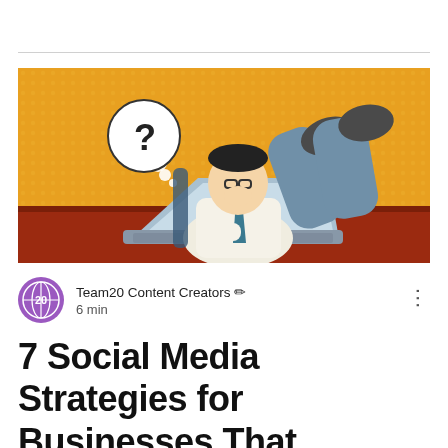[Figure (illustration): Pop art style comic illustration of a businessman sitting at a desk with feet up, thinking (question mark thought bubble), working on a laptop. Orange/yellow background with red desk.]
Team20 Content Creators  6 min
7 Social Media Strategies for Businesses That Struggle With Social